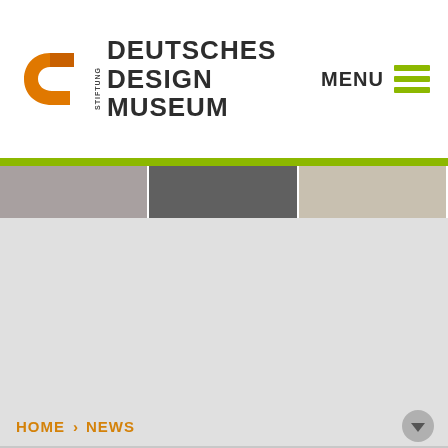[Figure (logo): Deutsches Design Museum logo with orange D icon and STIFTUNG text vertical]
MENU
[Figure (infographic): Partially visible image strip showing three panels at the top of the content area]
HOME › NEWS